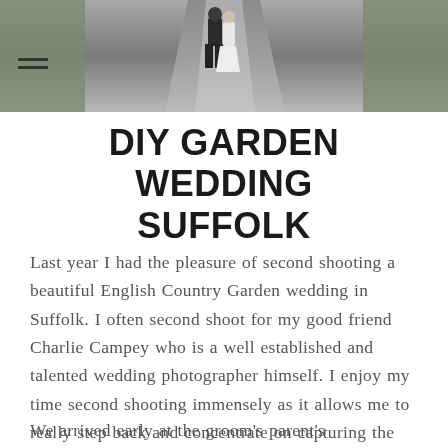[Figure (photo): A couple (bride and groom) walking away from camera down a path, with green foliage on the sides. Black and white / muted tones photo used as page header.]
DIY GARDEN WEDDING SUFFOLK
Last year I had the pleasure of second shooting a beautiful English Country Garden wedding in Suffolk. I often second shoot for my good friend Charlie Campey who is a well established and talented wedding photographer himself. I enjoy my time second shooting immensely as it allows me to really step back and concentrate on capturing the magic candid moments that are so important to telling the true story of your wedding day.
We arrived early at the groom's parent's